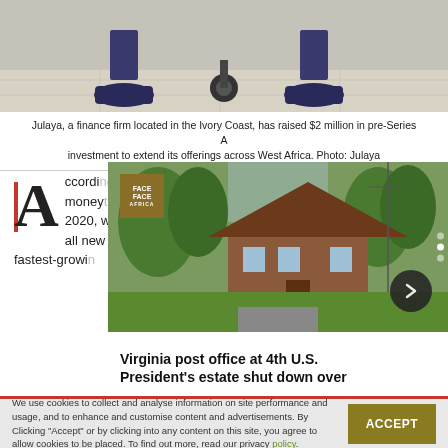[Figure (photo): Photo of a person sitting on the ground, shoes visible, with a camera or equipment nearby]
Julaya, a finance firm located in the Ivory Coast, has raised $2 million in pre-Series A investment to extend its offerings across West Africa. Photo: Julaya
According to the company, money... 2020, with Su... all new accou... fastest-growi...
[Figure (photo): Photo of a house with green lawn, a Virginia post office at 4th U.S. President's estate, with Face Africa badge overlay and navigation arrow]
Virginia post office at 4th U.S. President's estate shut down over
We use cookies to collect and analyse information on site performance and usage, and to enhance and customise content and advertisements. By Clicking "Accept" or by clicking into any content on this site, you agree to allow cookies to be placed. To find out more, read our privacy policy.